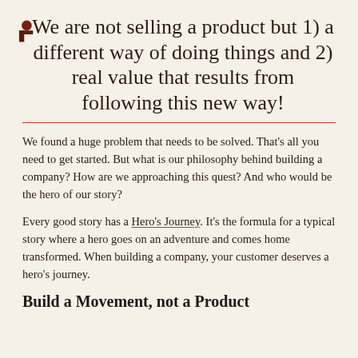We are not selling a product but 1) a different way of doing things and 2) real value that results from following this new way!
We found a huge problem that needs to be solved. That's all you need to get started. But what is our philosophy behind building a company? How are we approaching this quest? And who would be the hero of our story?
Every good story has a Hero's Journey. It's the formula for a typical story where a hero goes on an adventure and comes home transformed. When building a company, your customer deserves a hero's journey.
Build a Movement, not a Product